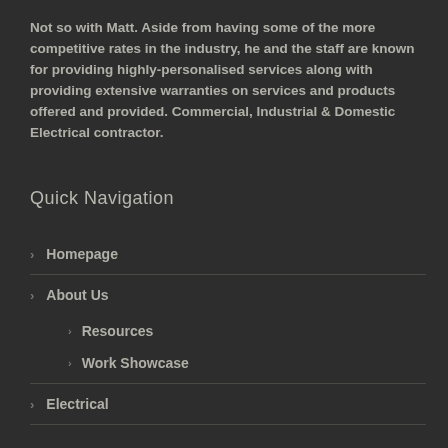Not so with Matt. Aside from having some of the more competitive rates in the industry, he and the staff are known for providing highly-personalised services along with providing extensive warranties on services and products offered and provided. Commercial, Industrial & Domestic Electrical contractor.
Quick Navigation
Homepage
About Us
Resources
Work Showcase
Electrical